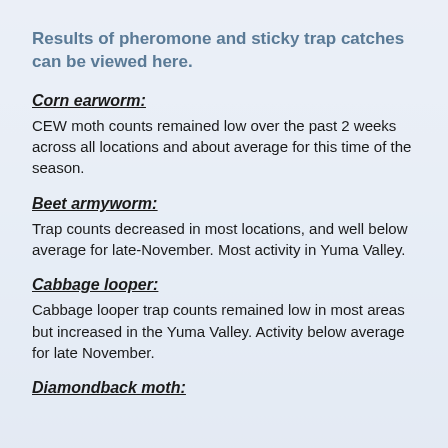Results of pheromone and sticky trap catches can be viewed here.
Corn earworm:
CEW moth counts remained low over the past 2 weeks across all locations and about average for this time of the season.
Beet armyworm:
Trap counts decreased in most locations, and well below average for late-November. Most activity in Yuma Valley.
Cabbage looper:
Cabbage looper trap counts remained low in most areas but increased in the Yuma Valley. Activity below average for late November.
Diamondback moth: